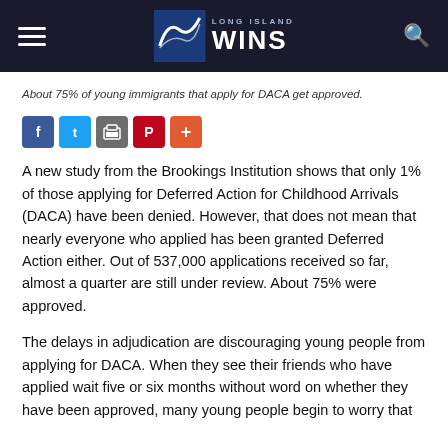Long Island Wins
About 75% of young immigrants that apply for DACA get approved.
[Figure (other): Social media share buttons: Facebook, Twitter, Print, Pinterest, Plus]
A new study from the Brookings Institution shows that only 1% of those applying for Deferred Action for Childhood Arrivals (DACA) have been denied. However, that does not mean that nearly everyone who applied has been granted Deferred Action either. Out of 537,000 applications received so far, almost a quarter are still under review. About 75% were approved.
The delays in adjudication are discouraging young people from applying for DACA. When they see their friends who have applied wait five or six months without word on whether they have been approved, many young people begin to worry that